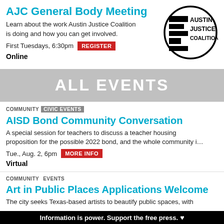AJC General Body Meeting
Learn about the work Austin Justice Coalition is doing and how you can get involved.
First Tuesdays, 6:30pm  REGISTER
Online
[Figure (logo): Austin Justice Coalition circular logo with stacked black rectangles and bold text 'AUSTIN JUSTICE COALITION']
ALL EVENTS
COMMUNITY  CIVIC EVENTS
AISD Bond Community Conversation
A special session for teachers to discuss a teacher housing proposition for the possible 2022 bond, and the whole community i...
Tue., Aug. 2, 6pm  MORE INFO
Virtual
COMMUNITY  EVENTS
Art in Public Places Applications Welcome
The city seeks Texas-based artists to beautify public spaces, with
Information is power. Support the free press. ♥